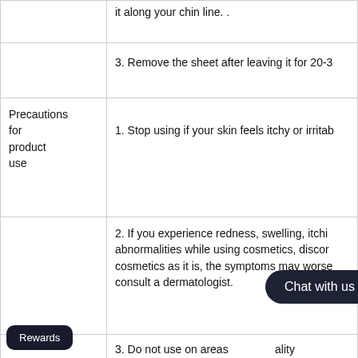it along your chin line. .
3. Remove the sheet after leaving it for 20-3
Precautions for product use
1. Stop using if your skin feels itchy or irritab
2. If you experience redness, swelling, itchi abnormalities while using cosmetics, discor cosmetics as it is, the symptoms may worse consult a dermatologist.
3. Do not use on areas ality eczema.